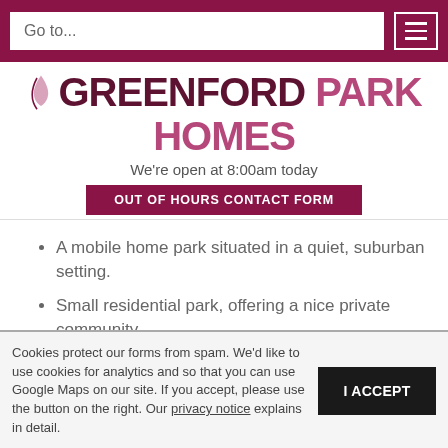Go to...
GREENFORD PARK HOMES
We're open at 8:00am today
OUT OF HOURS CONTACT FORM
A mobile home park situated in a quiet, suburban setting.
Small residential park, offering a nice private community.
Positioned down a short driveway, set back from the main road.
Cookies protect our forms from spam. We'd like to use cookies for analytics and so that you can use Google Maps on our site. If you accept, please use the button on the right. Our privacy notice explains in detail.